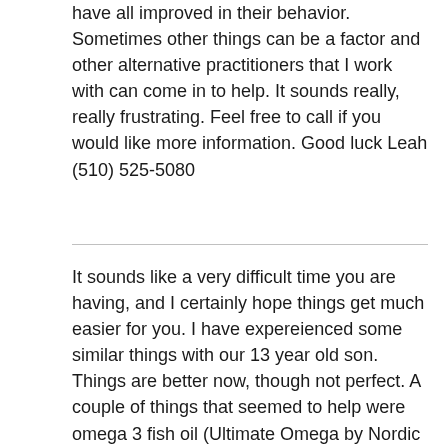have all improved in their behavior. Sometimes other things can be a factor and other alternative practitioners that I work with can come in to help. It sounds really, really frustrating. Feel free to call if you would like more information. Good luck Leah (510) 525-5080
It sounds like a very difficult time you are having, and I certainly hope things get much easier for you. I have expereienced some similar things with our 13 year old son. Things are better now, though not perfect. A couple of things that seemed to help were omega 3 fish oil (Ultimate Omega by Nordic Naturals--it is more concentrated that other fish oils) and EM Power Plus, a vitamin-mineral supplement made in Canada and used for a variety of mood disorders, and other mental health issues. You can find the fish oil at a good natural foods store and EM Power Plus on the internet at mytruehope.com. Best of luck to you anon
A therapeutic boarding school can be very helpful when other options have been exhausted (and exhausting!). However it is